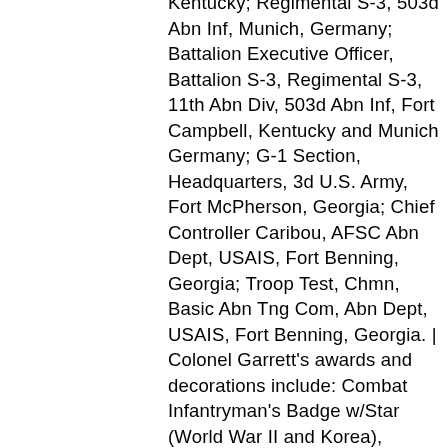Kentucky; Regimental S-3, 503d Abn Inf, Munich, Germany; Battalion Executive Officer, Battalion S-3, Regimental S-3, 11th Abn Div, 503d Abn Inf, Fort Campbell, Kentucky and Munich Germany; G-1 Section, Headquarters, 3d U.S. Army, Fort McPherson, Georgia; Chief Controller Caribou, AFSC Abn Dept, USAIS, Fort Benning, Georgia; Troop Test, Chmn, Basic Abn Tng Com, Abn Dept, USAIS, Fort Benning, Georgia. | Colonel Garrett's awards and decorations include: Combat Infantryman's Badge w/Star (World War II and Korea), Commendation Ribbon w/2